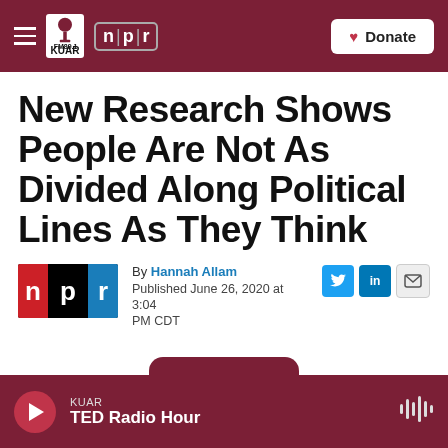FM 89.1 KUAR | NPR | Donate
New Research Shows People Are Not As Divided Along Political Lines As They Think
By Hannah Allam
Published June 26, 2020 at 3:04 PM CDT
KUAR TED Radio Hour